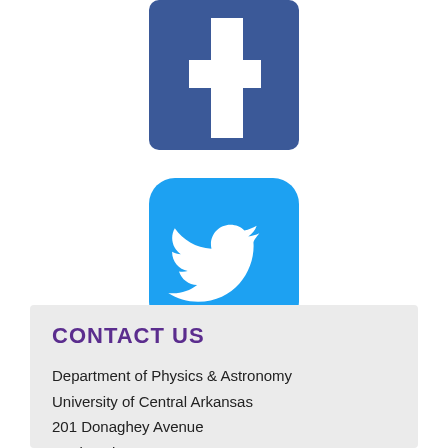[Figure (logo): Facebook logo icon — blue square with rounded corners and white 'f' cross shape]
[Figure (logo): Twitter logo icon — light blue rounded square with white bird silhouette]
CONTACT US
Department of Physics & Astronomy
University of Central Arkansas
201 Donaghey Avenue
Lewis Science Center, Rm 171